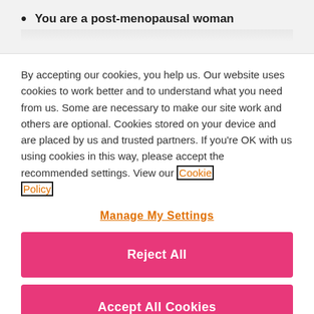You are a post-menopausal woman
By accepting our cookies, you help us. Our website uses cookies to work better and to understand what you need from us. Some are necessary to make our site work and others are optional. Cookies stored on your device and are placed by us and trusted partners. If you're OK with us using cookies in this way, please accept the recommended settings. View our Cookie Policy
Manage My Settings
Reject All
Accept All Cookies